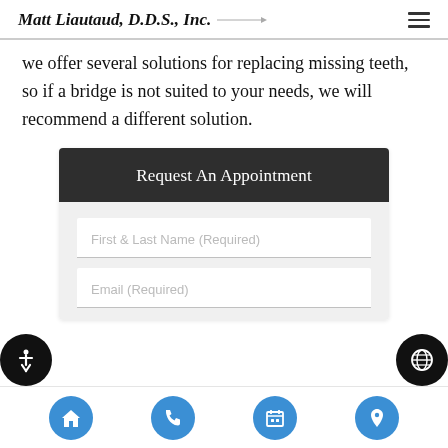Matt Liautaud, D.D.S., Inc.
we offer several solutions for replacing missing teeth, so if a bridge is not suited to your needs, we will recommend a different solution.
Request An Appointment
First & Last Name (Required)
Email (Required)
Home | Phone | Calendar | Location navigation icons